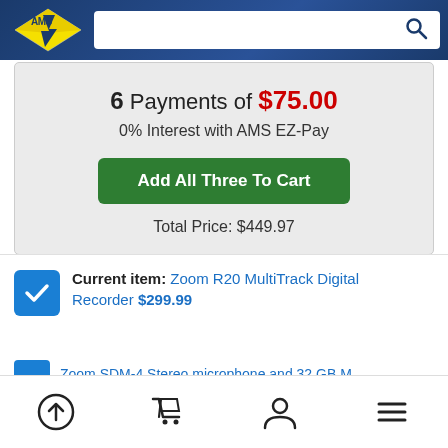AMS - search bar header
6 Payments of $75.00
0% Interest with AMS EZ-Pay
Add All Three To Cart
Total Price: $449.97
Current item: Zoom R20 MultiTrack Digital Recorder $299.99
Navigation bar with upload, cart, user, and menu icons